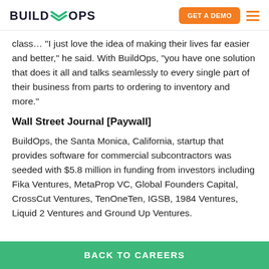BUILDOPS | GET A DEMO
class… "I just love the idea of making their lives far easier and better," he said. With BuildOps, "you have one solution that does it all and talks seamlessly to every single part of their business from parts to ordering to inventory and more."
Wall Street Journal [Paywall]
BuildOps, the Santa Monica, California, startup that provides software for commercial subcontractors was seeded with $5.8 million in funding from investors including Fika Ventures, MetaProp VC, Global Founders Capital, CrossCut Ventures, TenOneTen, IGSB, 1984 Ventures, Liquid 2 Ventures and Ground Up Ventures.
BACK TO CAREERS